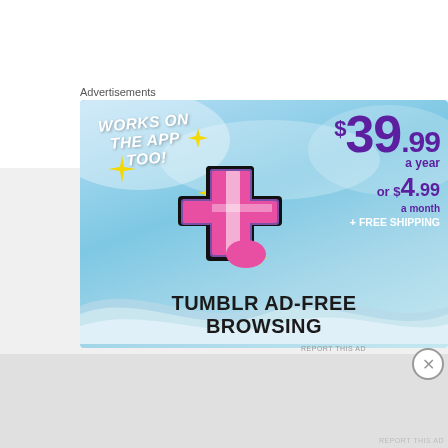Advertisements
[Figure (illustration): Tumblr Ad-Free Browsing advertisement banner with sky blue background, Tumblr 't' logo in pink/purple/white, sparkle stars, pricing '$39.99 a year or $4.99 a month + FREE SHIPPING', and text 'WORKS ON THE APP TOO!' and 'TUMBLR AD-FREE BROWSING']
REPORT THIS AD
Advertisements
REPORT THIS AD